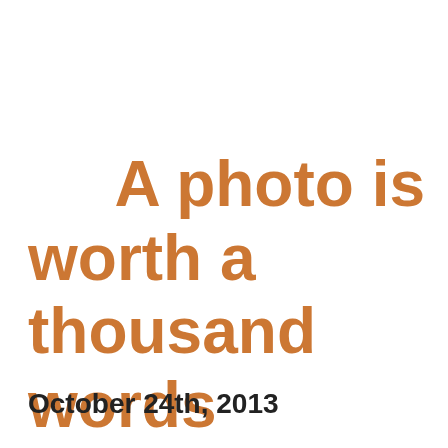A photo is worth a thousand words
October 24th, 2013